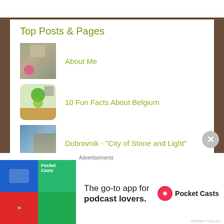Top Posts & Pages
About Me
10 Fun Facts About Belgium
Dubrovnik - "City of Stone and Light"
Weekly Photo Challege - Silhouette
Travel theme: Beaches (partially visible)
Advertisements
[Figure (screenshot): Pocket Casts advertisement banner: The go-to app for podcast lovers.]